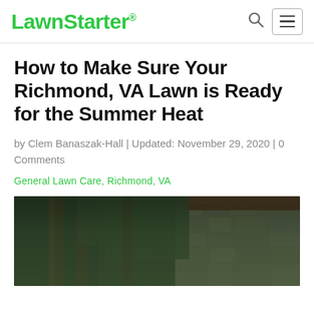LawnStarter®
How to Make Sure Your Richmond, VA Lawn is Ready for the Summer Heat
by Clem Banaszak-Hall | Updated: November 29, 2020 | 0 Comments
General Lawn Care, Richmond, VA
[Figure (photo): Outdoor photo showing tree trunks and a stone wall structure with red/brown wooden beams, surrounded by green foliage]